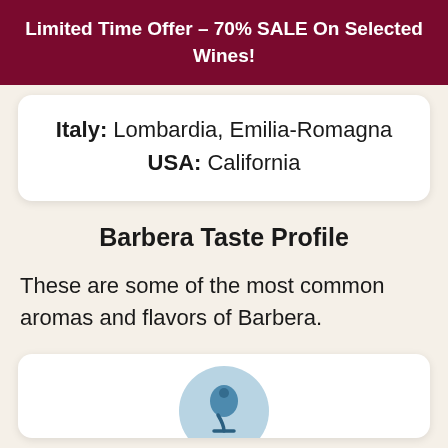Limited Time Offer – 70% SALE On Selected Wines!
Italy: Lombardia, Emilia-Romagna
USA: California
Barbera Taste Profile
These are some of the most common aromas and flavors of Barbera.
[Figure (illustration): Wine glass icon on a light blue circular background, partially visible at the bottom of the page]